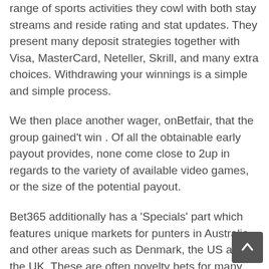range of sports activities they cowl with both stay streams and reside rating and stat updates. They present many deposit strategies together with Visa, MasterCard, Neteller, Skrill, and many extra choices. Withdrawing your winnings is a simple and simple process.
We then place another wager, onBetfair, that the group gained't win . Of all the obtainable early payout provides, none come close to 2up in regards to the variety of available video games, or the size of the potential payout.
Bet365 additionally has a 'Specials' part which features unique markets for punters in Australia and other areas such as Denmark, the US and the UK. These are often novelty bets for many who don't